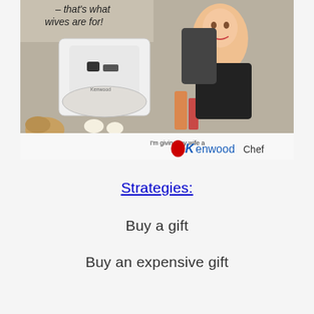[Figure (illustration): Vintage advertisement showing a woman and a man with a Kenwood Chef kitchen mixer. Text reads '– that's what wives are for!' and 'I'm giving my wife a Kenwood Chef' with the Kenwood Chef logo.]
Strategies:
Buy a gift
Buy an expensive gift